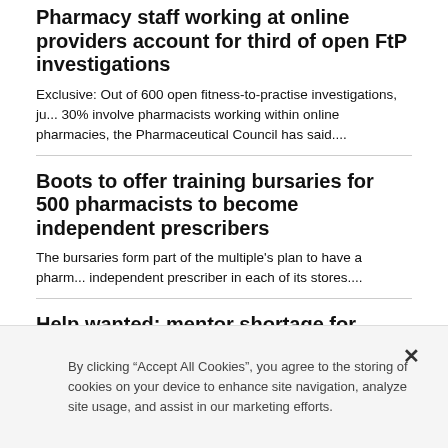Pharmacy staff working at online providers account for third of open FtP investigations
Exclusive: Out of 600 open fitness-to-practise investigations, just 30% involve pharmacists working within online pharmacies, the Pharmaceutical Council has said....
Boots to offer training bursaries for 500 pharmacists to become independent prescribers
The bursaries form part of the multiple's plan to have a pharmacist independent prescriber in each of its stores....
Help wanted: mentor shortage for potential prescribers
As the drive to train many more independent prescribing pharmacists continues, there is an urgent need to increase the number of de...
By clicking “Accept All Cookies”, you agree to the storing of cookies on your device to enhance site navigation, analyze site usage, and assist in our marketing efforts.